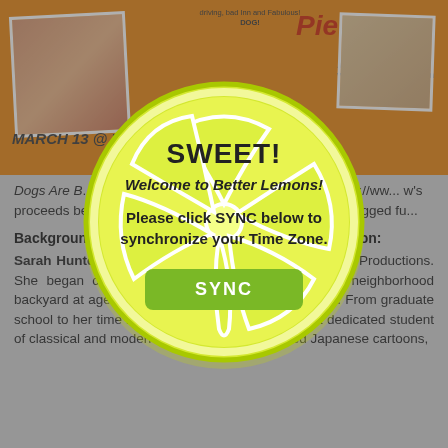[Figure (screenshot): Orange theater promotional banner with dog photos, person photo, and show title 'Pie'; text includes 'MARCH 13 @ 7' and website info]
Dogs Are B... efire Theatre So... t 7pm PST/10 pm... https://www... w's proceeds be... Rescue, and Soi Dog r... h your own four-legged fu...
Background on Sarah Hunter and Director Lynn Johnson:
Sarah Hunter is the other half of Two Heads are Better Productions. She began creating characters and dramas in her neighborhood backyard at age eight back in West Lafayette, Indiana. From graduate school to her time in Los Angeles, Sarah remains a dedicated student of classical and modern theater. She has dubbed Japanese cartoons,
[Figure (illustration): Lemon/lime slice popup dialog with 'SWEET! Welcome to Better Lemons! Please click SYNC below to synchronize your Time Zone.' and a green SYNC button]